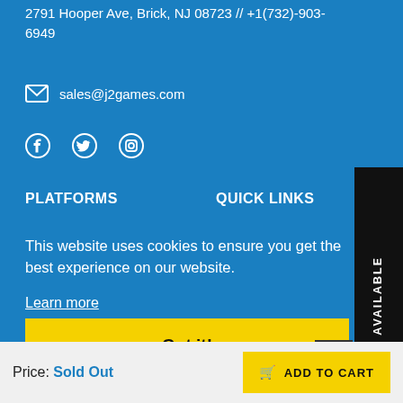2791 Hooper Ave, Brick, NJ 08723 // +1(732)-903-6949
sales@j2games.com
[Figure (illustration): Social media icons: Facebook, Twitter, Instagram]
PLATFORMS
QUICK LINKS
This website uses cookies to ensure you get the best experience on our website.
Learn more
Got it!
NOTIFY WHEN AVAILABLE
Price: Sold Out
ADD TO CART